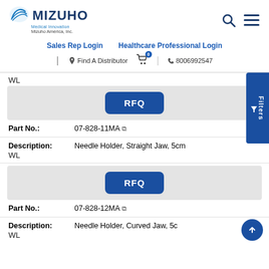[Figure (logo): Mizuho Medical Innovation logo with blue fan icon and text 'Mizuho America, Inc.']
Sales Rep Login   Healthcare Professional Login
Find A Distributor   [cart icon with 0]   8006992547
WL
RFQ
Part No.: 07-828-11MA
Description: Needle Holder, Straight Jaw, 5cm WL
RFQ
Part No.: 07-828-12MA
Description: Needle Holder, Curved Jaw, 5cm WL